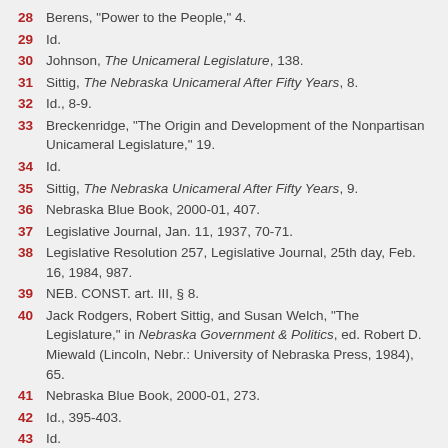28 Berens, "Power to the People," 4.
29 Id.
30 Johnson, The Unicameral Legislature, 138.
31 Sittig, The Nebraska Unicameral After Fifty Years, 8.
32 Id., 8-9.
33 Breckenridge, "The Origin and Development of the Nonpartisan Unicameral Legislature," 19.
34 Id.
35 Sittig, The Nebraska Unicameral After Fifty Years, 9.
36 Nebraska Blue Book, 2000-01, 407.
37 Legislative Journal, Jan. 11, 1937, 70-71.
38 Legislative Resolution 257, Legislative Journal, 25th day, Feb. 16, 1984, 987.
39 NEB. CONST. art. III, § 8.
40 Jack Rodgers, Robert Sittig, and Susan Welch, "The Legislature," in Nebraska Government & Politics, ed. Robert D. Miewald (Lincoln, Nebr.: University of Nebraska Press, 1984), 65.
41 Nebraska Blue Book, 2000-01, 273.
42 Id., 395-403.
43 Id.
44 Rodgers, Sittig, and Welch, "The Legislature," 65.